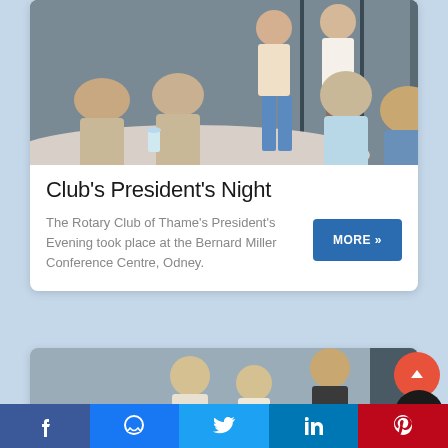[Figure (photo): Group of people at a social gathering/dinner event, two men standing in background, women seated at table in foreground]
Club's President's Night
The Rotary Club of Thame's President's Evening took place at the Bernard Miller Conference Centre, Odney.
[Figure (photo): People at another event, partially visible at bottom of page]
f  [messenger]  [twitter]  in  [pinterest]  [toggle]